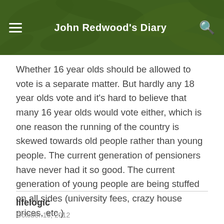John Redwood's Diary
Whether 16 year olds should be allowed to vote is a separate matter. But hardly any 18 year olds vote and it's hard to believe that many 16 year olds would vote either, which is one reason the running of the country is skewed towards old people rather than young people. The current generation of pensioners have never had it so good. The current generation of young people are being stuffed on all sides (university fees, crazy house prices, etc.)
lifelogic
October 15, 2012
I did not make it up, but did only look it up quickly on the